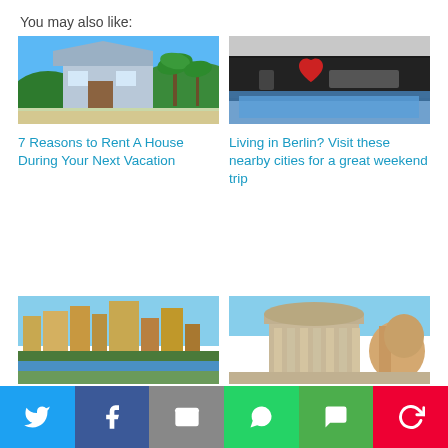You may also like:
[Figure (photo): Vacation house with palm trees and blue sky]
[Figure (photo): I Love Berlin sign with red heart]
7 Reasons to Rent A House During Your Next Vacation
Living in Berlin? Visit these nearby cities for a great weekend trip
[Figure (photo): City skyline with river and buildings]
[Figure (photo): Rome Pantheon and fountain sculpture]